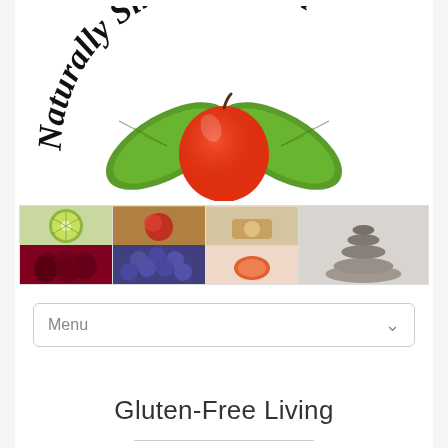[Figure (logo): Naturally Simple Health logo with arched cursive text and a red apple with green leaves, plus a photo strip showing fruits, wellness items, and stacked stones]
Menu
Gluten-Free Living
Gluten-Free Bread